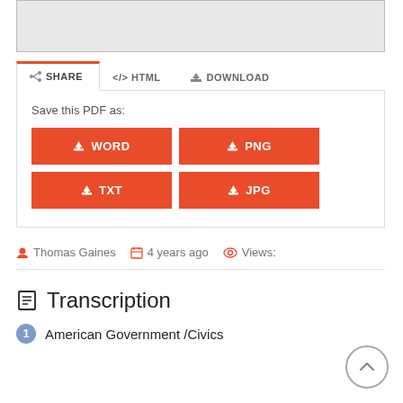[Figure (screenshot): Top portion of a document viewer showing a cropped gray document preview area]
SHARE   </> HTML   ⬇ DOWNLOAD
Save this PDF as:
⬇ WORD
⬇ PNG
⬇ TXT
⬇ JPG
Thomas Gaines   4 years ago   Views:
Transcription
1 American Government /Civics